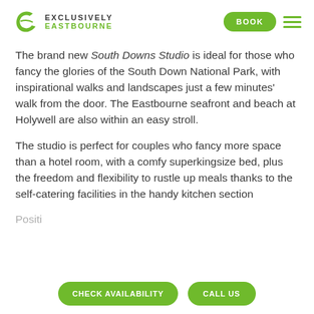[Figure (logo): Exclusively Eastbourne logo with green stylized 'e' icon and text]
The brand new South Downs Studio is ideal for those who fancy the glories of the South Down National Park, with inspirational walks and landscapes just a few minutes' walk from the door. The Eastbourne seafront and beach at Holywell are also within an easy stroll.
The studio is perfect for couples who fancy more space than a hotel room, with a comfy superkingsize bed, plus the freedom and flexibility to rustle up meals thanks to the self-catering facilities in the handy kitchen section
Positi... particularly desirable residential or...
CHECK AVAILABILITY   CALL US